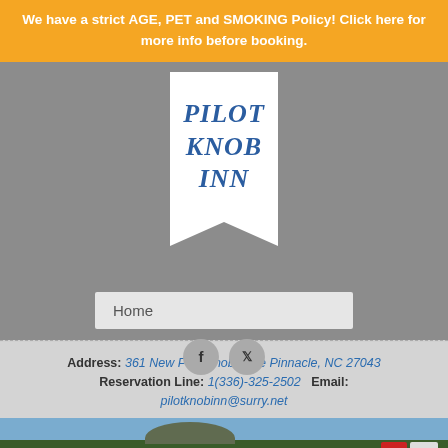We have a strict AGE, PET and SMOKING Policy! Click here for more info before booking.
PILOT KNOB INN
Home
Address: 361 New Pilot Knob Lane Pinnacle, NC 27043   Reservation Line: 1(336)-325-2502   Email: pilotknobinn@surry.net
[Figure (photo): Outdoor scenic photo strip showing trees and mountain landscape at bottom of page]